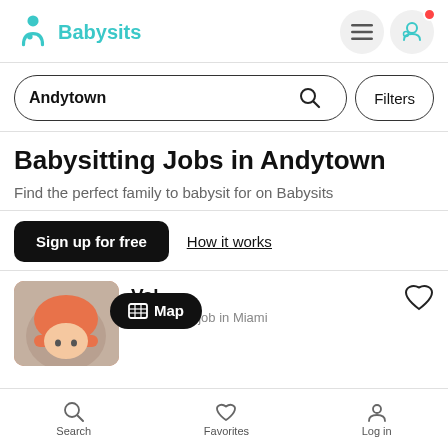[Figure (logo): Babysits app logo with teal icon and teal text 'Babysits']
Andytown
Babysitting Jobs in Andytown
Find the perfect family to babysit for on Babysits
Sign up for free
How it works
Val
Babysitting job in Miami
Map
Search   Favorites   Log in